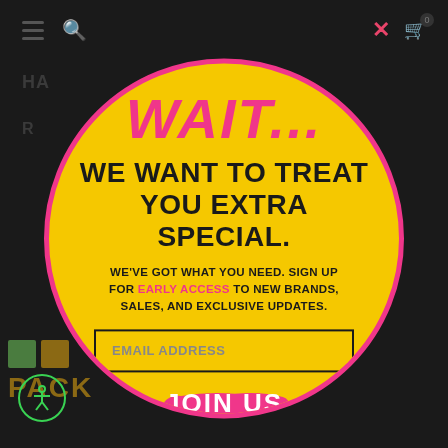[Figure (screenshot): Website popup overlay with yellow circle on dark background]
WAIT...
WE WANT TO TREAT YOU EXTRA SPECIAL.
WE'VE GOT WHAT YOU NEED. SIGN UP FOR EARLY ACCESS TO NEW BRANDS, SALES, AND EXCLUSIVE UPDATES.
EMAIL ADDRESS
JOIN US